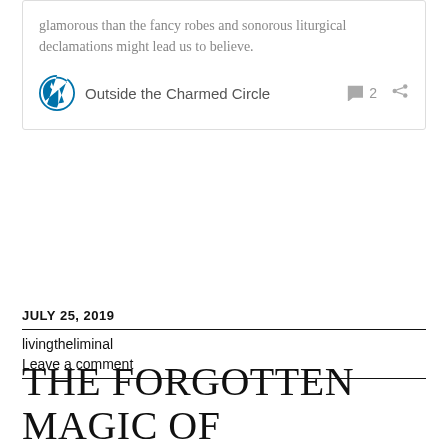glamorous than the fancy robes and sonorous liturgical declamations might lead us to believe.
Outside the Charmed Circle  2
JULY 25, 2019
livingtheliminal
Leave a comment
THE FORGOTTEN MAGIC OF